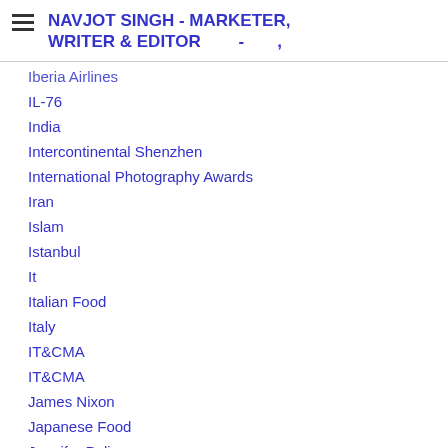NAVJOT SINGH - MARKETER, WRITER & EDITOR - ,
Iberia Airlines
IL-76
India
Intercontinental Shenzhen
International Photography Awards
Iran
Islam
Istanbul
It
Italian Food
Italy
IT&CMA
IT&CMA
James Nixon
Japanese Food
Jennifer Palisoc
Jia Hong Kong
Ji…